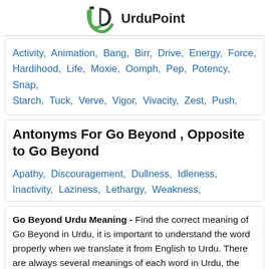UrduPoint
Activity, Animation, Bang, Birr, Drive, Energy, Force, Hardihood, Life, Moxie, Oomph, Pep, Potency, Snap, Starch, Tuck, Verve, Vigor, Vivacity, Zest, Push,
Antonyms For Go Beyond , Opposite to Go Beyond
Apathy, Discouragement, Dullness, Idleness, Inactivity, Laziness, Lethargy, Weakness,
Go Beyond Urdu Meaning - Find the correct meaning of Go Beyond in Urdu, it is important to understand the word properly when we translate it from English to Urdu. There are always several meanings of each word in Urdu, the correct